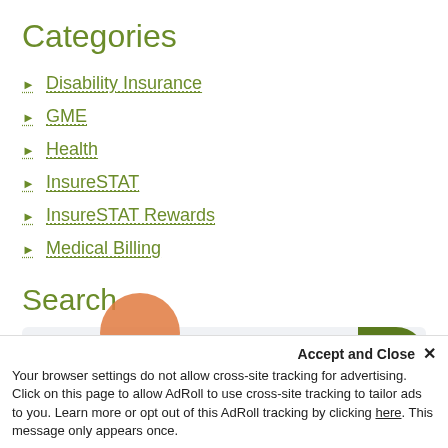Categories
Disability Insurance
GME
Health
InsureSTAT
InsureSTAT Rewards
Medical Billing
Search
Search
Accept and Close ×
Your browser settings do not allow cross-site tracking for advertising. Click on this page to allow AdRoll to use cross-site tracking to tailor ads to you. Learn more or opt out of this AdRoll tracking by clicking here. This message only appears once.